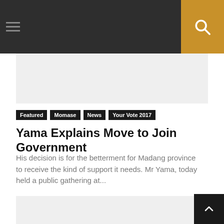Navigation bar with hamburger menu and search button
[Figure (other): Top advertisement placeholder banner, light grey background]
Featured
Momase
News
Your Vote 2017
Yama Explains Move to Join Government
His decision is for the betterment for Madang province to receive the kind of support it needs. Mr Yama, today held a public gathering at...
[Figure (other): Bottom advertisement placeholder banner, light grey background]